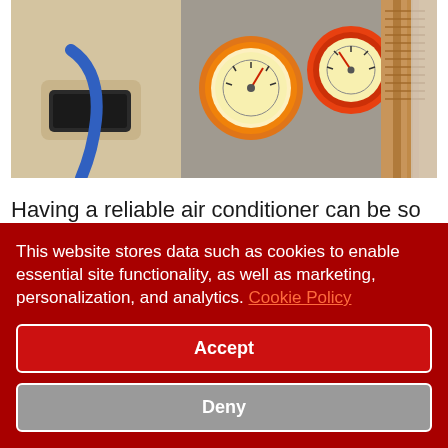[Figure (photo): Technician's hand holding HVAC gauges/equipment, showing pressure gauges (orange and yellow), copper tubing and fins in background]
Having a reliable air conditioner can be so vital in Alabama. We know that many of our customers enjoy the Gulf, the Little Lagoon, and the Bon Secour Bay, but it's always nice to come home to a cool home. Whatever it is that has caused the need for air conditioner repair, we'll
This website stores data such as cookies to enable essential site functionality, as well as marketing, personalization, and analytics. Cookie Policy
Accept
Deny